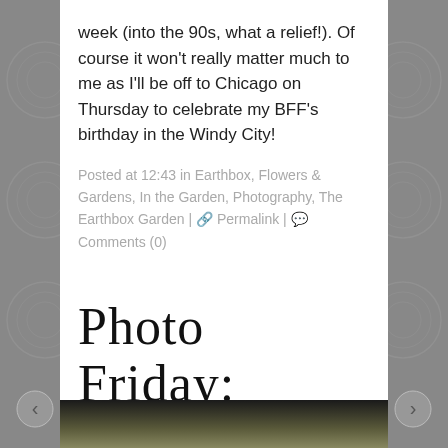week (into the 90s, what a relief!). Of course it won't really matter much to me as I'll be off to Chicago on Thursday to celebrate my BFF's birthday in the Windy City!
Posted at 12:43 in Earthbox, Flowers & Gardens, In the Garden, Photography, The Earthbox Garden | Permalink | Comments (0)
Photo Friday: Seaside
August 28, 2009
[Figure (photo): Dark photographic image strip, partially visible at bottom of page]